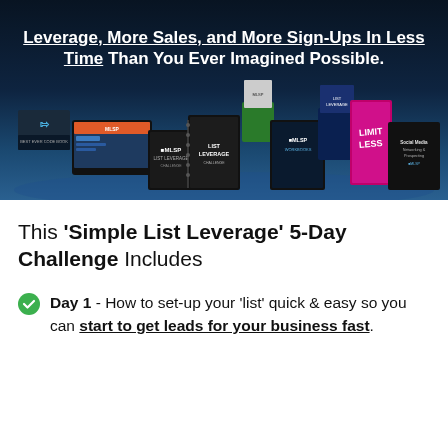Leverage, More Sales, and More Sign-Ups In Less Time Than You Ever Imagined Possible.
[Figure (photo): Collection of MLSP marketing products including boxes, binders, and digital course materials labeled 'List Leverage', 'MLSP', 'MLSP Workbooks', 'Limitless', 'Social Media Networking & Prospecting' arranged in a display against dark background.]
This 'Simple List Leverage' 5-Day Challenge Includes
Day 1 - How to set-up your 'list' quick & easy so you can start to get leads for your business fast.